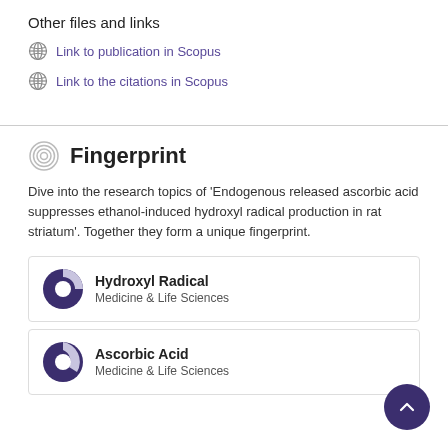Other files and links
Link to publication in Scopus
Link to the citations in Scopus
Fingerprint
Dive into the research topics of 'Endogenous released ascorbic acid suppresses ethanol-induced hydroxyl radical production in rat striatum'. Together they form a unique fingerprint.
Hydroxyl Radical
Medicine & Life Sciences
Ascorbic Acid
Medicine & Life Sciences